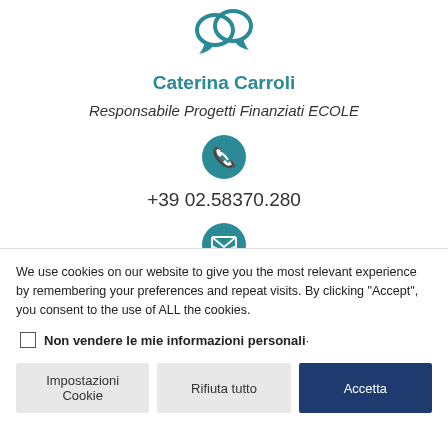[Figure (illustration): Teal speech bubble chat icon at the top]
Caterina Carroli
Responsabile Progetti Finanziati ECOLE
[Figure (illustration): Teal circle with white phone icon]
+39 02.58370.280
[Figure (illustration): Teal circle with white envelope/email icon]
We use cookies on our website to give you the most relevant experience by remembering your preferences and repeat visits. By clicking "Accept", you consent to the use of ALL the cookies.
Non vendere le mie informazioni personali·
Impostazioni Cookie
Rifiuta tutto
Accetta